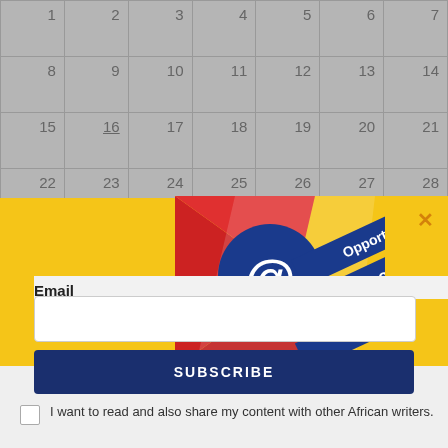| 1 | 2 | 3 | 4 | 5 | 6 | 7 |
| 8 | 9 | 10 | 11 | 12 | 13 | 14 |
| 15 | 16 | 17 | 18 | 19 | 20 | 21 |
| 22 | 23 | 24 | 25 | 26 | 27 | 28 |
[Figure (illustration): Email newsletter signup promo image with @ symbol, envelope shapes in red and white, and blue diagonal banners reading 'Opportunities', 'Books', 'Features']
×
Email
SUBSCRIBE
I want to read and also share my content with other African writers.